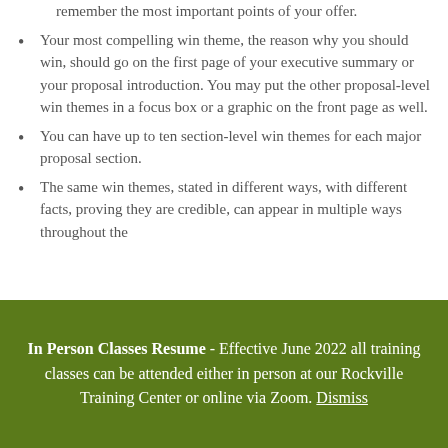remember the most important points of your offer.
Your most compelling win theme, the reason why you should win, should go on the first page of your executive summary or your proposal introduction. You may put the other proposal-level win themes in a focus box or a graphic on the front page as well.
You can have up to ten section-level win themes for each major proposal section.
The same win themes, stated in different ways, with different facts, proving they are credible, can appear in multiple ways throughout the
In Person Classes Resume - Effective June 2022 all training classes can be attended either in person at our Rockville Training Center or online via Zoom. Dismiss